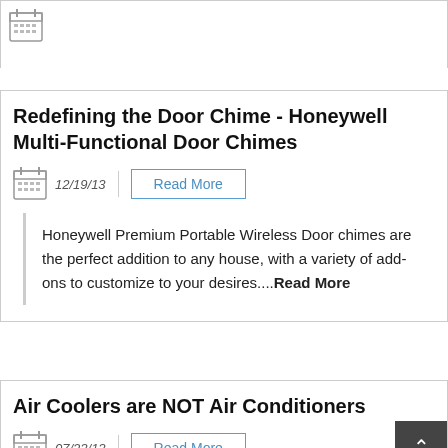Redefining the Door Chime - Honeywell Multi-Functional Door Chimes
12/19/13
Honeywell Premium Portable Wireless Door chimes are the perfect addition to any house, with a variety of add-ons to customize to your desires....Read More
Air Coolers are NOT Air Conditioners
07/23/13